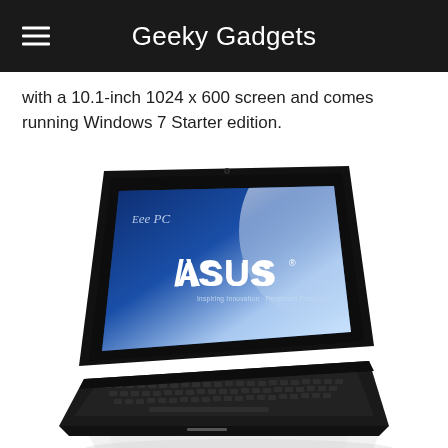Geeky Gadgets
with a 10.1-inch 1024 x 600 screen and comes running Windows 7 Starter edition.
[Figure (photo): ASUS Eee PC netbook with black casing, open lid showing ASUS logo on screen with 'Inspiring Innovation · Persistent Perfection' tagline, and Eee PC branding in upper left of screen. Keyboard visible at bottom.]